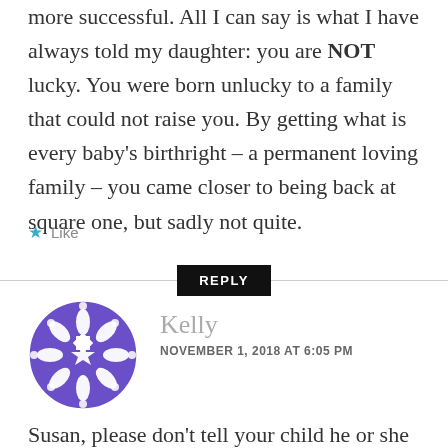more successful. All I can say is what I have always told my daughter: you are NOT lucky. You were born unlucky to a family that could not raise you. By getting what is every baby’s birthright – a permanent loving family – you came closer to being back at square one, but sadly not quite.
★ Like
REPLY
Kelly
NOVEMBER 1, 2018 AT 6:05 PM
Susan, please don’t tell your child he or she was “born unlucky.” I find that